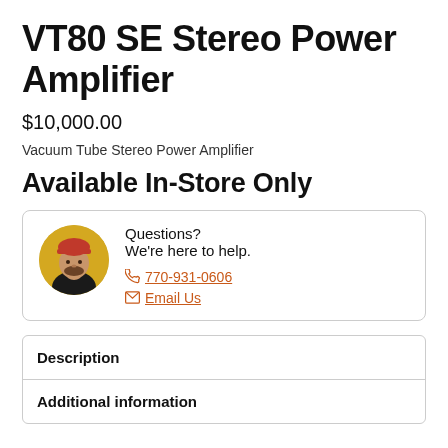VT80 SE Stereo Power Amplifier
$10,000.00
Vacuum Tube Stereo Power Amplifier
Available In-Store Only
[Figure (photo): Circular avatar photo of a man wearing a red cap and black shirt, with a yellow background]
Questions?
We're here to help.
770-931-0606
Email Us
Description
Additional information